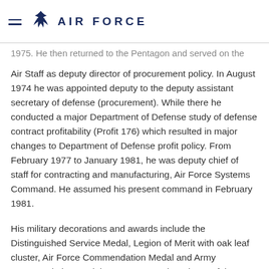AIR FORCE
1975. He then returned to the Pentagon and served on the Air Staff as deputy director of procurement policy. In August 1974 he was appointed deputy to the deputy assistant secretary of defense (procurement). While there he conducted a major Department of Defense study of defense contract profitability (Profit 176) which resulted in major changes to Department of Defense profit policy. From February 1977 to January 1981, he was deputy chief of staff for contracting and manufacturing, Air Force Systems Command. He assumed his present command in February 1981.
His military decorations and awards include the Distinguished Service Medal, Legion of Merit with oak leaf cluster, Air Force Commendation Medal and Army Commendation Medal. He was named Engineer of the Year